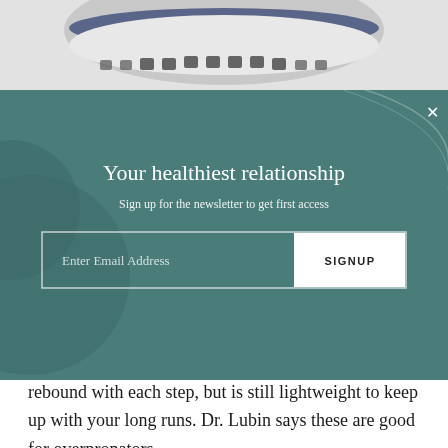[Figure (photo): Top portion of a running shoe sole showing textured dots pattern in blue and white, cropped at the top of the page]
[Figure (screenshot): Newsletter signup modal with teal/dark green background, decorative circle on left and arc on top right, containing title, subtitle, and email signup form]
Your healthiest relationship
Sign up for the newsletter to get first access
rebound with each step, but is still lightweight to keep up with your long runs. Dr. Lubin says these are good for overpronators.
Pros
[Figure (other): Laura Mercier advertisement banner: Laura Mercier Paris New York logo on left, product image in center, Shop Now at Sephora button on right, on a cream/beige background]